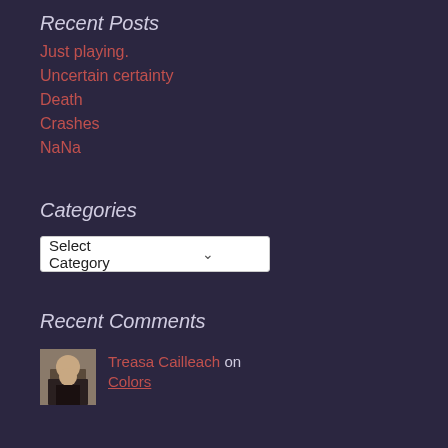Recent Posts
Just playing.
Uncertain certainty
Death
Crashes
NaNa
Categories
Select Category
Recent Comments
Treasa Cailleach on Colors